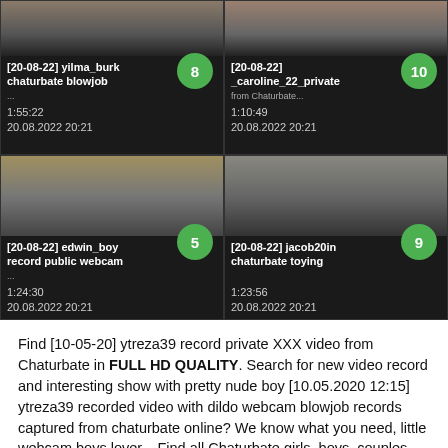[Figure (screenshot): Grid of 4 video thumbnails from a webcam recording site. Top-left: [20-08-22] yilma_burk chaturbate blowjob, 1:55:22, 20.08.2022 20:21, badge 8. Top-right: [20-08-22] _caroline_22_private from Chaturbate, 1:10:49, 20.08.2022 20:21, badge 10. Bottom-left: [20-08-22] edwin_boy record public webcam, 1:24:30, 20.08.2022 20:21, badge 5. Bottom-right: [20-08-22] jacob20in chaturbate toying, 1:23:56, 20.08.2022 20:21, badge 9.]
Find [10-05-20] ytreza39 record private XXX video from Chaturbate in FULL HD QUALITY. Search for new video record and interesting show with pretty nude boy [10.05.2020 12:15] ytreza39 recorded video with dildo webcam blowjob records captured from chaturbate online? We know what you need, little webcam boys lover... Find all Chaturbate girls, boys, couples and trans webcam models in Webcam Fuckers Chaturbate Records